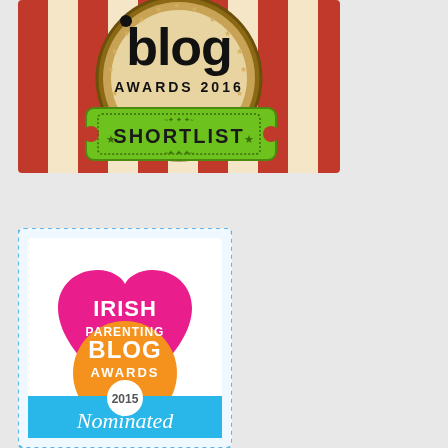[Figure (logo): Blog Awards 2016 Shortlist badge with red and white striped background, circular medallion showing 'blog AWARDS 2016', and green ticket-style banner reading 'SHORTLIST']
[Figure (logo): Irish Parenting Blog Awards 2015 Nominated badge with overlapping pink heart, orange circle, and blue rectangle shapes, white text reading 'IRISH PARENTING BLOG AWARDS', white circle with '2015', and script text 'Nominated']